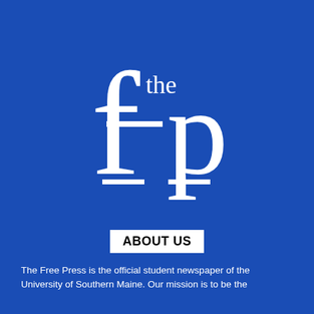[Figure (logo): The Free Press newspaper logo: a blue square background with large white serif letters 'fp' and smaller text 'the' above them, forming the masthead logo of The Free Press student newspaper.]
ABOUT US
The Free Press is the official student newspaper of the University of Southern Maine. Our mission is to be the